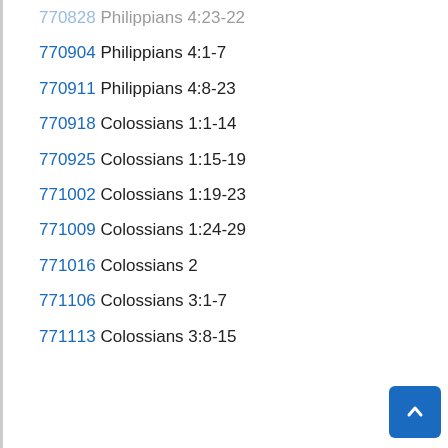770828 Philippians 4:23-22
770904 Philippians 4:1-7
770911 Philippians 4:8-23
770918 Colossians 1:1-14
770925 Colossians 1:15-19
771002 Colossians 1:19-23
771009 Colossians 1:24-29
771016 Colossians 2
771106 Colossians 3:1-7
771113 Colossians 3:8-15